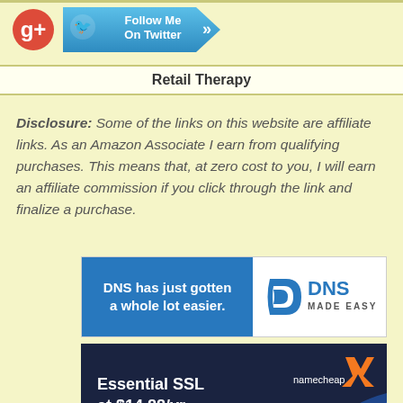[Figure (logo): Google+ red circle icon and Follow Me On Twitter blue button with arrow]
Retail Therapy
Disclosure: Some of the links on this website are affiliate links. As an Amazon Associate I earn from qualifying purchases. This means that, at zero cost to you, I will earn an affiliate commission if you click through the link and finalize a purchase.
[Figure (infographic): DNS Made Easy advertisement banner: blue left panel saying 'DNS has just gotten a whole lot easier.' with DNS Made Easy logo on white right panel]
[Figure (infographic): Namecheap advertisement: dark navy background with orange Namecheap logo/checkmark and text 'Essential SSL at $14.88/yr']